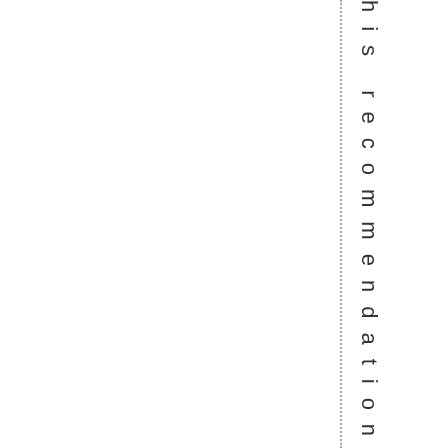his recommendations. So, let, s